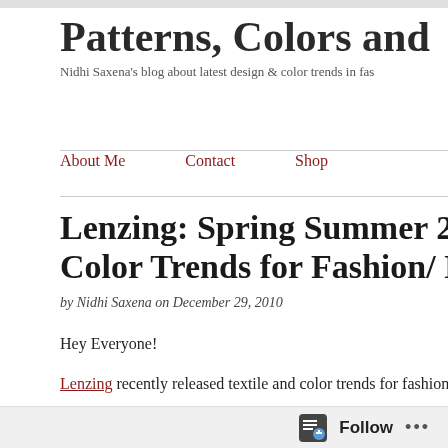Patterns, Colors and
Nidhi Saxena's blog about latest design & color trends in fas
About Me   Contact   Shop
Lenzing: Spring Summer 201 Color Trends for Fashion/ Ho
by Nidhi Saxena on December 29, 2010
Hey Everyone!
Lenzing recently released textile and color trends for fashion and
The release is indeed very insightful and so I thought of sharing th